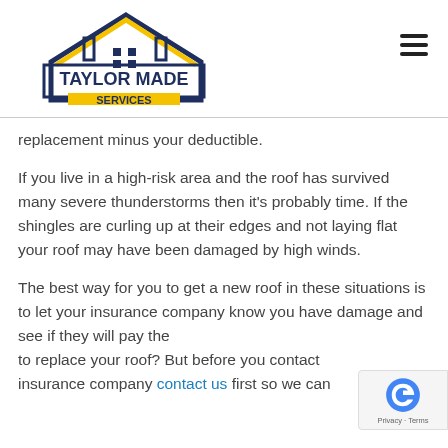[Figure (logo): Taylor Made Services - Fortified Roofing Experts logo with house/roof graphic in navy and gold, with hamburger menu icon on the right]
replacement minus your deductible.
If you live in a high-risk area and the roof has survived many severe thunderstorms then it's probably time. If the shingles are curling up at their edges and not laying flat your roof may have been damaged by high winds.
The best way for you to get a new roof in these situations is to let your insurance company know you have damage and see if they will pay the to replace your roof? But before you contact insurance company contact us first so we can